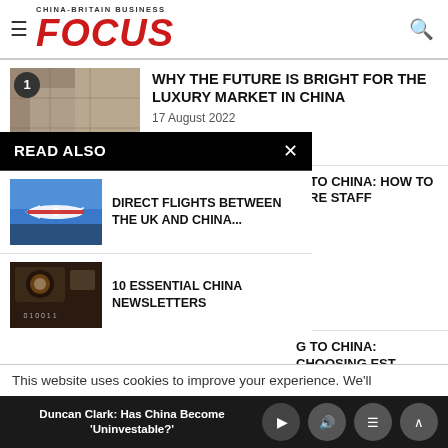CHINA-BRITAIN BUSINESS FOCUS
WHY THE FUTURE IS BRIGHT FOR THE LUXURY MARKET IN CHINA
17 August 2022
READ ALSO
[Figure (photo): Airplane in blue sky - direct flights between UK and China]
DIRECT FLIGHTS BETWEEN THE UK AND CHINA...
[Figure (photo): Person using smartphone technology]
10 ESSENTIAL CHINA NEWSLETTERS
G TO CHINA: HOW TO HIRE STAFF
G TO CHINA: CHOOSING EST ROUTE TO ENTER
This website uses cookies to improve your experience. We'll
Duncan Clark: Has China Become 'Uninvestable?'